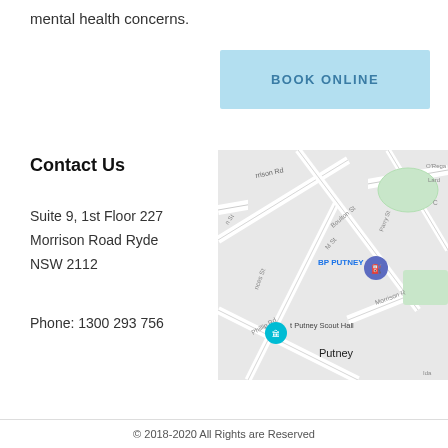mental health concerns.
BOOK ONLINE
Contact Us
Suite 9, 1st Floor 227
Morrison Road Ryde
NSW 2112
Phone: 1300 293 756
[Figure (map): Google Maps view showing BP Putney, Putney Scout Hall, and surrounding streets including Morrison Rd, Boulton St, Phillip Rd, and Frances St in the Putney/Ryde area of NSW.]
© 2018-2020 All Rights are Reserved